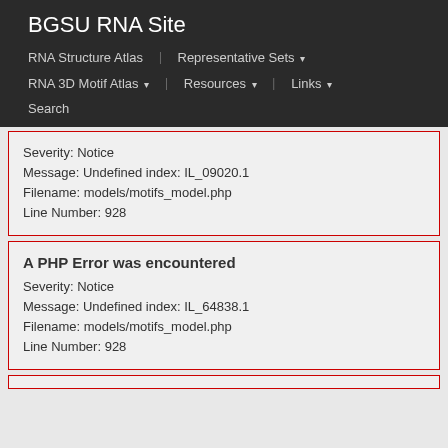BGSU RNA Site
RNA Structure Atlas | Representative Sets ▾ | RNA 3D Motif Atlas ▾ | Resources ▾ | Links ▾ | Search
Severity: Notice
Message: Undefined index: IL_09020.1
Filename: models/motifs_model.php
Line Number: 928
A PHP Error was encountered
Severity: Notice
Message: Undefined index: IL_64838.1
Filename: models/motifs_model.php
Line Number: 928